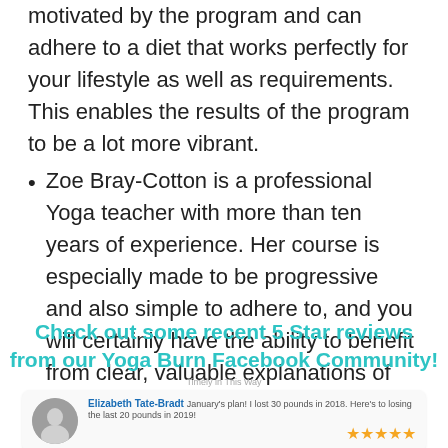motivated by the program and can adhere to a diet that works perfectly for your lifestyle as well as requirements. This enables the results of the program to be a lot more vibrant.
Zoe Bray-Cotton is a professional Yoga teacher with more than ten years of experience. Her course is especially made to be progressive and also simple to adhere to, and you will certainly have the ability to benefit from clear, valuable explanations of each pose.
Check out some recent 5 Star reviews from our Yoga Burn Facebook Community!
Timely in This Way
Elizabeth Tate-Bradt January's plan! I lost 30 pounds in 2018. Here's to losing the last 20 pounds in 2019!